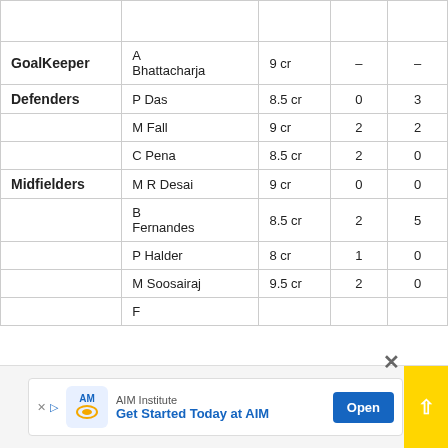|  | Player | Price | Col1 | Col2 |
| --- | --- | --- | --- | --- |
|  |  |  |  |  |
| GoalKeeper | A Bhattacharja | 9 cr | – | – |
| Defenders | P Das | 8.5 cr | 0 | 3 |
|  | M Fall | 9 cr | 2 | 2 |
|  | C Pena | 8.5 cr | 2 | 0 |
| Midfielders | M R Desai | 9 cr | 0 | 0 |
|  | B Fernandes | 8.5 cr | 2 | 5 |
|  | P Halder | 8 cr | 1 | 0 |
|  | M Soosairaj | 9.5 cr | 2 | 0 |
|  | F |  |  |  |
[Figure (other): Advertisement banner: AIM Institute - Get Started Today at AIM, with Open button]